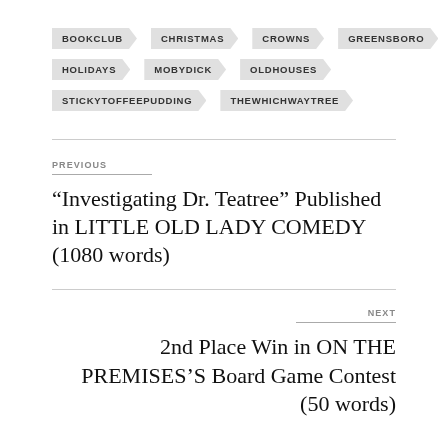BOOKCLUB
CHRISTMAS
CROWNS
GREENSBORO
HOLIDAYS
MOBYDICK
OLDHOUSES
STICKYTOFFEEPUDDING
THEWHICHWAYTREE
PREVIOUS
“Investigating Dr. Teatree” Published in LITTLE OLD LADY COMEDY (1080 words)
NEXT
2nd Place Win in ON THE PREMISES’S Board Game Contest (50 words)